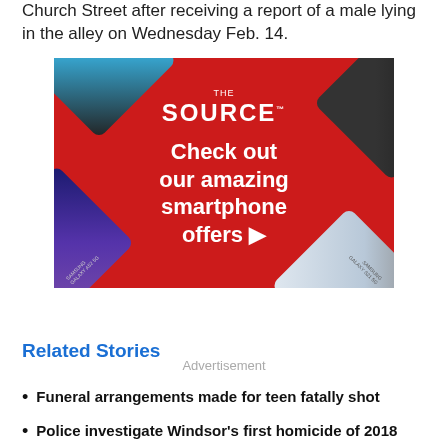Church Street after receiving a report of a male lying in the alley on Wednesday Feb. 14.
[Figure (illustration): The Source electronics store advertisement showing smartphones arranged around a red diamond-shaped background with text: THE SOURCE - Check out our amazing smartphone offers]
Advertisement
Related Stories
Funeral arrangements made for teen fatally shot
Police investigate Windsor's first homicide of 2018